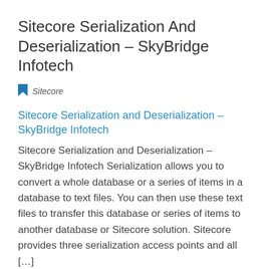Sitecore Serialization And Deserialization – SkyBridge Infotech
Sitecore
Sitecore Serialization and Deserialization – SkyBridge Infotech
Sitecore Serialization and Deserialization – SkyBridge Infotech Serialization allows you to convert a whole database or a series of items in a database to text files. You can then use these text files to transfer this database or series of items to another database or Sitecore solution. Sitecore provides three serialization access points and all […]
Read More